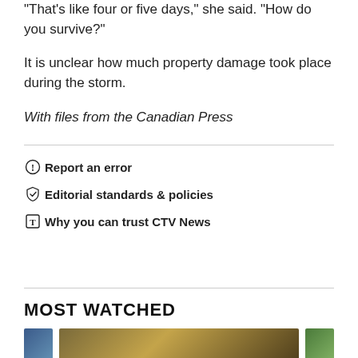"That's like four or five days," she said. "How do you survive?"
It is unclear how much property damage took place during the storm.
With files from the Canadian Press
Report an error
Editorial standards & policies
Why you can trust CTV News
MOST WATCHED
[Figure (photo): Thumbnail images for most watched videos section]